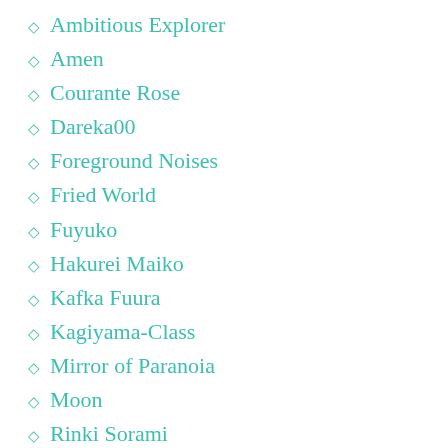Ambitious Explorer
Amen
Courante Rose
Dareka00
Foreground Noises
Fried World
Fuyuko
Hakurei Maiko
Kafka Fuura
Kagiyama-Class
Mirror of Paranoia
Moon
Rinki Sorami
Scarletsius
Tiramisu Cowboy
The Zärtlichkeit du Yuri
Rain Orchesta
Releska